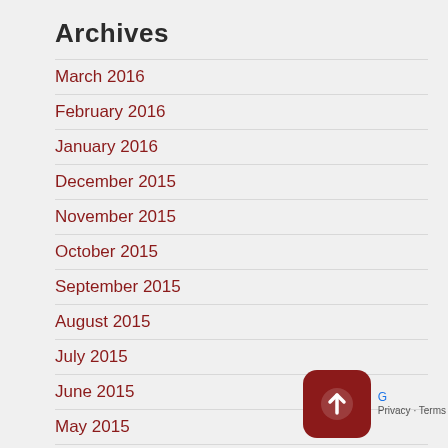Archives
March 2016
February 2016
January 2016
December 2015
November 2015
October 2015
September 2015
August 2015
July 2015
June 2015
May 2015
April 2015
March 2015
February 2015
January 2015
Privacy · Terms